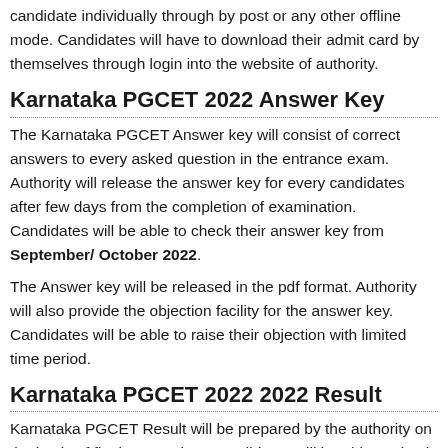candidate individually through by post or any other offline mode. Candidates will have to download their admit card by themselves through login into the website of authority.
Karnataka PGCET 2022 Answer Key
The Karnataka PGCET Answer key will consist of correct answers to every asked question in the entrance exam. Authority will release the answer key for every candidates after few days from the completion of examination. Candidates will be able to check their answer key from September/ October 2022.
The Answer key will be released in the pdf format. Authority will also provide the objection facility for the answer key. Candidates will be able to raise their objection with limited time period.
Karnataka PGCET 2022 2022 Result
Karnataka PGCET Result will be prepared by the authority on the basis of final answer key. Candidates will be able to check their result from October 2022 through online mode only.